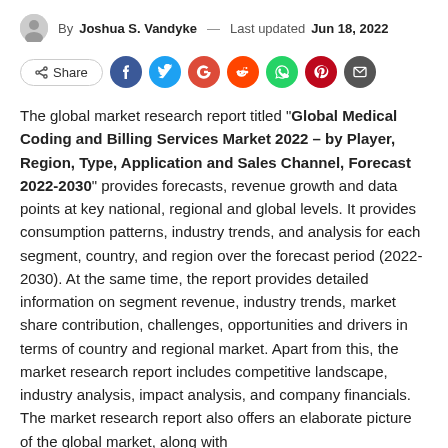By Joshua S. Vandyke — Last updated Jun 18, 2022
[Figure (infographic): Social share bar with Share button and icons for Facebook, Twitter, Google+, Reddit, WhatsApp, Pinterest, and Email]
The global market research report titled “Global Medical Coding and Billing Services Market 2022 – by Player, Region, Type, Application and Sales Channel, Forecast 2022-2030” provides forecasts, revenue growth and data points at key national, regional and global levels. It provides consumption patterns, industry trends, and analysis for each segment, country, and region over the forecast period (2022-2030). At the same time, the report provides detailed information on segment revenue, industry trends, market share contribution, challenges, opportunities and drivers in terms of country and regional market. Apart from this, the market research report includes competitive landscape, industry analysis, impact analysis, and company financials. The market research report also offers an elaborate picture of the global market, along with